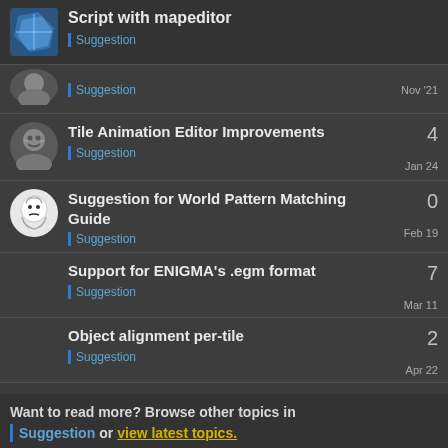Script with mapeditor — Suggestion
Suggestion — Nov '21
Tile Animation Editor Improvements — Suggestion — Jan 24 — 4 replies
Suggestion for World Pattern Matching Guide — Suggestion — Feb 19 — 0 replies
Support for ENIGMA's .egm format — Suggestion — Mar 11 — 7 replies
Object alignment per-tile — Suggestion — Apr 22 — 2 replies
Want to read more? Browse other topics in Suggestion or view latest topics.